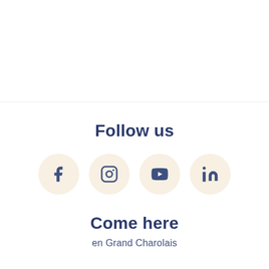[Figure (illustration): Top white section above a light yellow/cream horizontal divider line]
Follow us
[Figure (infographic): Four social media icon circles (Facebook, Instagram, YouTube, LinkedIn) with cream/beige background circles, icons in slate blue color]
Come here
en Grand Charolais